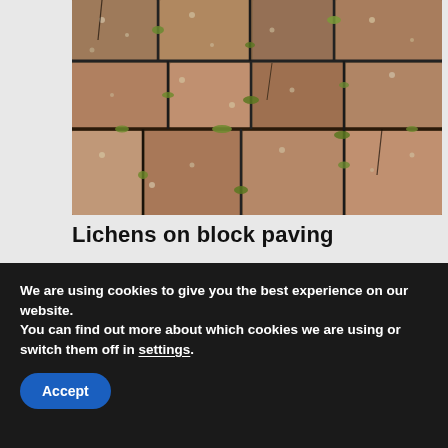[Figure (photo): Close-up photograph of block paving stones with lichens growing in the cracks and joints between the blocks. The stones are brownish with white speckles and green lichen/moss visible in the joints.]
Lichens on block paving
[Figure (photo): Close-up photograph of light beige/cream paving slabs with dark spots and a grey joint/crack running vertically between two slabs.]
We are using cookies to give you the best experience on our website.
You can find out more about which cookies we are using or switch them off in settings.
Accept